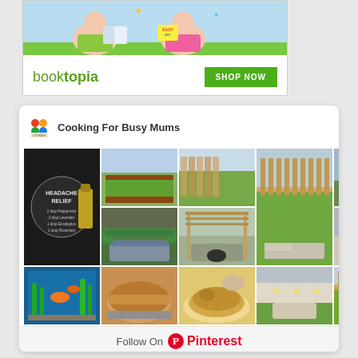[Figure (illustration): Booktopia advertisement with cartoon children reading books at top, 'booktopia' logo in green and 'SHOP NOW' green button at bottom]
[Figure (screenshot): Pinterest board widget for 'Cooking For Busy Mums' showing a grid of garden/lawn and food photos, with 'Follow On Pinterest' button at the bottom]